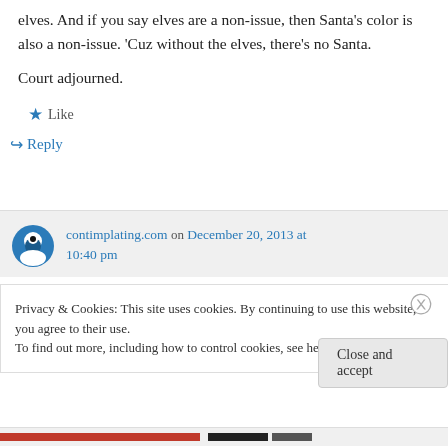elves. And if you say elves are a non-issue, then Santa's color is also a non-issue. 'Cuz without the elves, there's no Santa.
Court adjourned.
★ Like
↪ Reply
contimplating.com on December 20, 2013 at 10:40 pm
Privacy & Cookies: This site uses cookies. By continuing to use this website, you agree to their use.
To find out more, including how to control cookies, see here: Cookie Policy
Close and accept